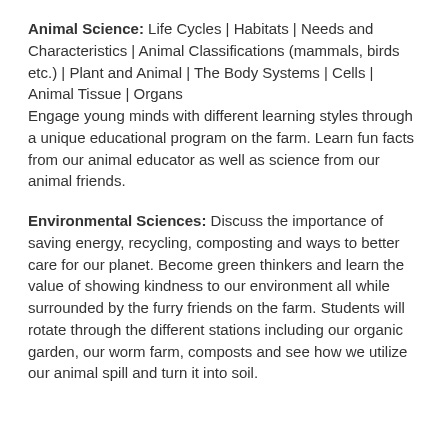Animal Science: Life Cycles | Habitats | Needs and Characteristics | Animal Classifications (mammals, birds etc.) | Plant and Animal | The Body Systems | Cells | Animal Tissue | Organs
Engage young minds with different learning styles through a unique educational program on the farm. Learn fun facts from our animal educator as well as science from our animal friends.
Environmental Sciences: Discuss the importance of saving energy, recycling, composting and ways to better care for our planet. Become green thinkers and learn the value of showing kindness to our environment all while surrounded by the furry friends on the farm. Students will rotate through the different stations including our organic garden, our worm farm, composts and see how we utilize our animal spill and turn it into soil.